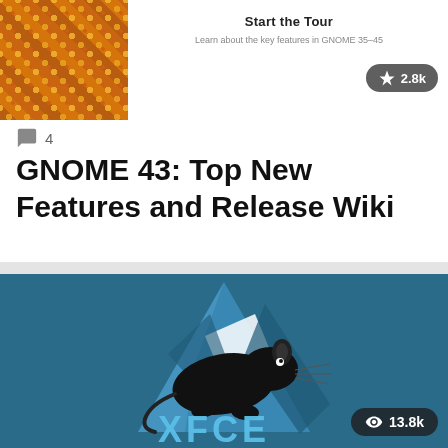[Figure (screenshot): Partial screenshot showing a 'Start the Tour' card with orange mosaic tile background on the left and white card on the right with text 'Start the Tour' and 'Learn about the key features in GNOME 35–45'. A dark badge shows a lightning bolt icon and '2.8k' in the top right.]
💬 4
GNOME 43: Top New Features and Release Wiki
[Figure (logo): XFCE logo on a dark blue/teal background. The logo shows a blue triangle/arrow pointing up with a white geometric shape and a black mouse/rat silhouette running across it. Below is the text 'XFCE' in light blue stylized lettering. A dark badge shows an eye icon and '13.8k' in the bottom right corner.]